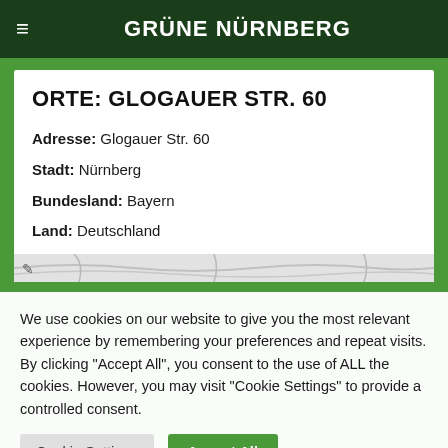GRÜNE NÜRNBERG
ORTE: GLOGAUER STR. 60
Adresse: Glogauer Str. 60
Stadt: Nürnberg
Bundesland: Bayern
Land: Deutschland
[Figure (map): Partial map graphic strip at bottom of card]
We use cookies on our website to give you the most relevant experience by remembering your preferences and repeat visits. By clicking "Accept All", you consent to the use of ALL the cookies. However, you may visit "Cookie Settings" to provide a controlled consent.
Cookie Settings | Accept All